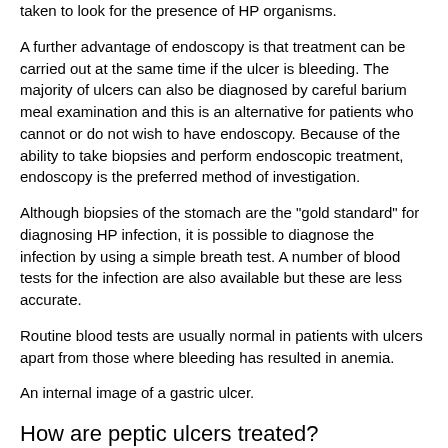taken to look for the presence of HP organisms.
A further advantage of endoscopy is that treatment can be carried out at the same time if the ulcer is bleeding. The majority of ulcers can also be diagnosed by careful barium meal examination and this is an alternative for patients who cannot or do not wish to have endoscopy. Because of the ability to take biopsies and perform endoscopic treatment, endoscopy is the preferred method of investigation.
Although biopsies of the stomach are the "gold standard" for diagnosing HP infection, it is possible to diagnose the infection by using a simple breath test. A number of blood tests for the infection are also available but these are less accurate.
Routine blood tests are usually normal in patients with ulcers apart from those where bleeding has resulted in anemia.
An internal image of a gastric ulcer.
How are peptic ulcers treated?